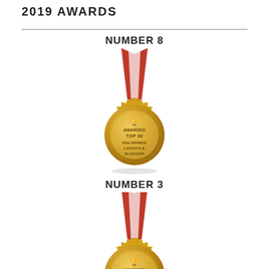2019 AWARDS
NUMBER 8
[Figure (illustration): Gold medal with red ribbon awarded Top 30 Philippines Lifestyle Blogger]
NUMBER 3
[Figure (illustration): Gold medal with red ribbon awarded Top 15 Philippines (partially visible)]